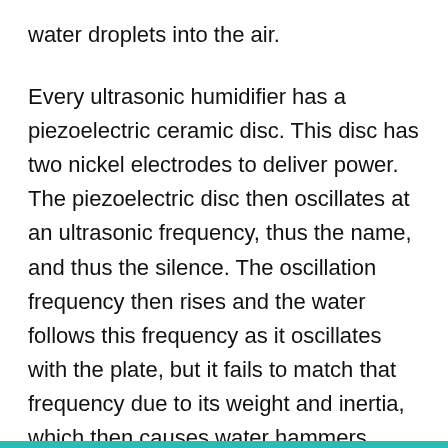water droplets into the air.
Every ultrasonic humidifier has a piezoelectric ceramic disc. This disc has two nickel electrodes to deliver power. The piezoelectric disc then oscillates at an ultrasonic frequency, thus the name, and thus the silence. The oscillation frequency then rises and the water follows this frequency as it oscillates with the plate, but it fails to match that frequency due to its weight and inertia, which then causes water hammers.
This process further makes room for the process of cavitation to happen, as due to the low pressure